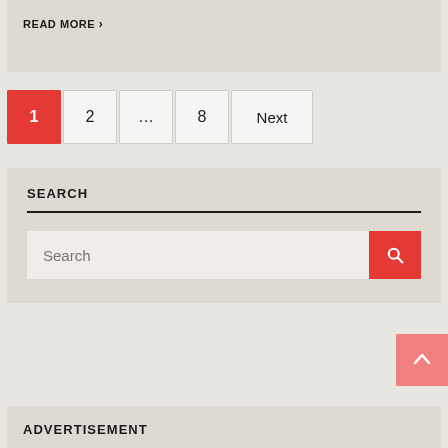READ MORE ›
1  2  ...  8  Next
SEARCH
Search
ADVERTISEMENT